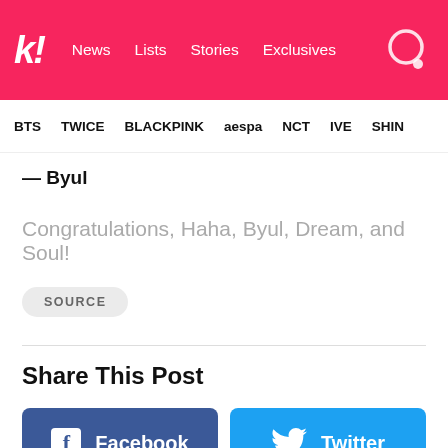k! News Lists Stories Exclusives
BTS TWICE BLACKPINK aespa NCT IVE SHINE
— Byul
Congratulations, Haha, Byul, Dream, and Soul!
SOURCE
Share This Post
Facebook
Twitter